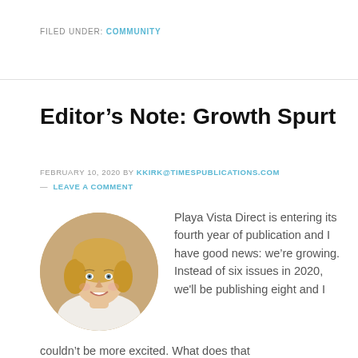FILED UNDER: COMMUNITY
Editor’s Note: Growth Spurt
FEBRUARY 10, 2020 BY KKIRK@TIMESPUBLICATIONS.COM — LEAVE A COMMENT
[Figure (photo): Circular headshot of a smiling blonde woman in a white top]
Playa Vista Direct is entering its fourth year of publication and I have good news: we’re growing. Instead of six issues in 2020, we'll be publishing eight and I couldn’t be more excited. What does that